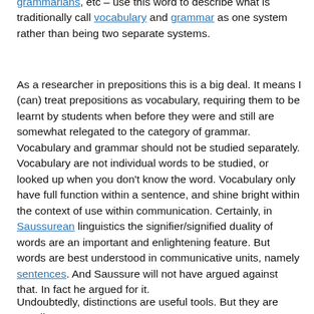grammarians, etc – use this word to describe what is traditionally call vocabulary and grammar as one system rather than being two separate systems.
As a researcher in prepositions this is a big deal. It means I (can) treat prepositions as vocabulary, requiring them to be learnt by students when before they were and still are somewhat relegated to the category of grammar. Vocabulary and grammar should not be studied separately. Vocabulary are not individual words to be studied, or looked up when you don't know the word. Vocabulary only have full function within a sentence, and shine bright within the context of use within communication. Certainly, in Saussurean linguistics the signifier/signified duality of words are an important and enlightening feature. But words are best understood in communicative units, namely sentences. And Saussure will not have argued against that. In fact he argued for it.
Undoubtedly, distinctions are useful tools. But they are usually...